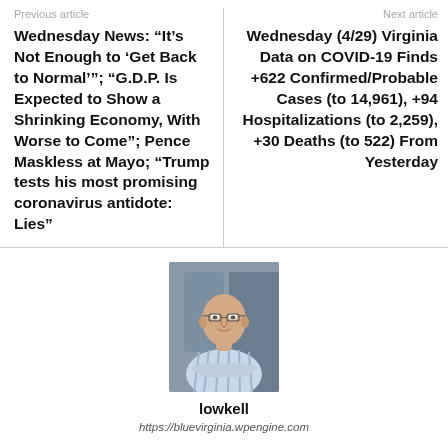Previous article
Wednesday News: “It’s Not Enough to ‘Get Back to Normal’”; “G.D.P. Is Expected to Show a Shrinking Economy, With Worse to Come”; Pence Maskless at Mayo; “Trump tests his most promising coronavirus antidote: Lies”
Next article
Wednesday (4/29) Virginia Data on COVID-19 Finds +622 Confirmed/Probable Cases (to 14,961), +94 Hospitalizations (to 2,259), +30 Deaths (to 522) From Yesterday
[Figure (photo): Headshot of a bald man with glasses wearing a light blue striped shirt with arms crossed, in front of a blurred background]
lowkell
https://bluevirginia.wpengine.com